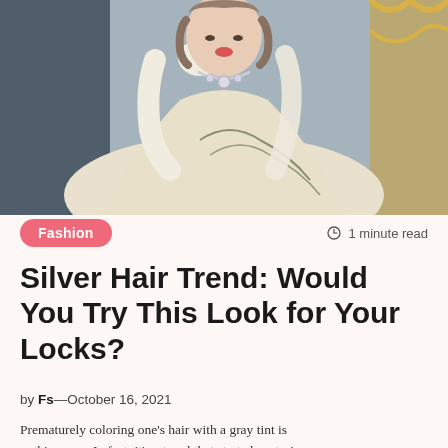[Figure (photo): A woman in an ornate historical white and gold embroidered gown wearing white gloves and a diamond necklace, posing with hand near face in front of a gilded frame backdrop.]
Fashion
1 minute read
Silver Hair Trend: Would You Try This Look for Your Locks?
by Fs—October 16, 2021
Prematurely coloring one's hair with a gray tint is nothing new. In fact, it's a trend that started centuries